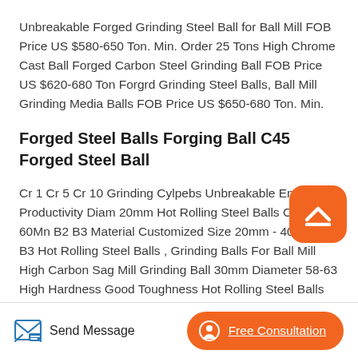Unbreakable Forged Grinding Steel Ball for Ball Mill FOB Price US $580-650 Ton. Min. Order 25 Tons High Chrome Cast Ball Forged Carbon Steel Grinding Ball FOB Price US $620-680 Ton Forgrd Grinding Steel Balls, Ball Mill Grinding Media Balls FOB Price US $650-680 Ton. Min.
Forged Steel Balls Forging Ball C45 Forged Steel Ball
Cr 1 Cr 5 Cr 10 Grinding Cylpebs Unbreakable Enhancing Productivity Diam 20mm Hot Rolling Steel Balls C45 60Mn B2 B3 Material Customized Size 20mm - 40mm B2 B3 Hot Rolling Steel Balls , Grinding Balls For Ball Mill High Carbon Sag Mill Grinding Ball 30mm Diameter 58-63 High Hardness Good Toughness Hot Rolling Steel Balls
Send Message | Free Consultation